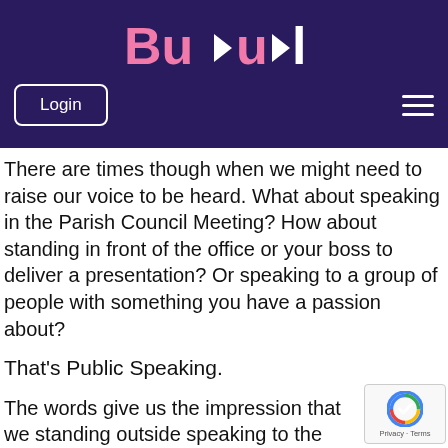BuBul
There are times though when we might need to raise our voice to be heard. What about speaking in the Parish Council Meeting? How about standing in front of the office or your boss to deliver a presentation? Or speaking to a group of people with something you have a passion about?
That’s Public Speaking.
The words give us the impression that we standing outside speaking to the public, b can be any occasion where you might need to